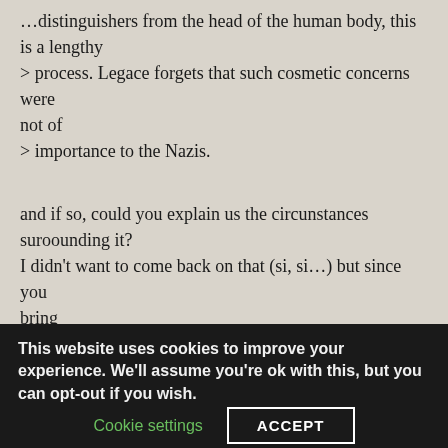...distinguishers from the head of the human body, this is a lengthy
> process. Legace forgets that such cosmetic concerns were not of
> importance to the Nazis.
and if so, could you explain us the circunstances suroounding it?
I didn't want to come back on that (si, si...) but since you bring
it back again, I'm curious...
[image]
From ifbe@vir.com Thu May 2 22:40:14 PDT 1996
This website uses cookies to improve your experience. We'll assume you're ok with this, but you can opt-out if you wish.
Cookie settings
ACCEPT